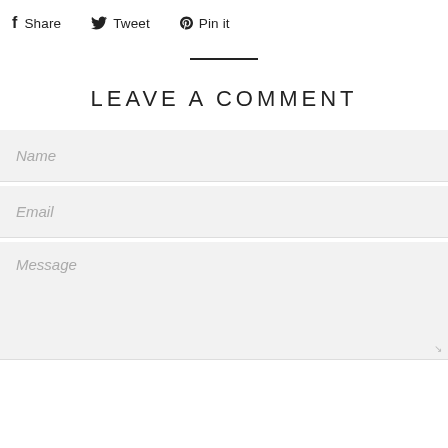f Share  Tweet  Pin it
[Figure (other): Horizontal divider line centered on page]
LEAVE A COMMENT
Name
Email
Message